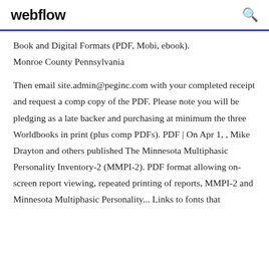webflow
Book and Digital Formats (PDF, Mobi, ebook). Monroe County Pennsylvania
Then email site.admin@peginc.com with your completed receipt and request a comp copy of the PDF. Please note you will be pledging as a late backer and purchasing at minimum the three Worldbooks in print (plus comp PDFs). PDF | On Apr 1, , Mike Drayton and others published The Minnesota Multiphasic Personality Inventory-2 (MMPI-2). PDF format allowing on-screen report viewing, repeated printing of reports, MMPI-2 and Minnesota Multiphasic Personality... Links to fonts that